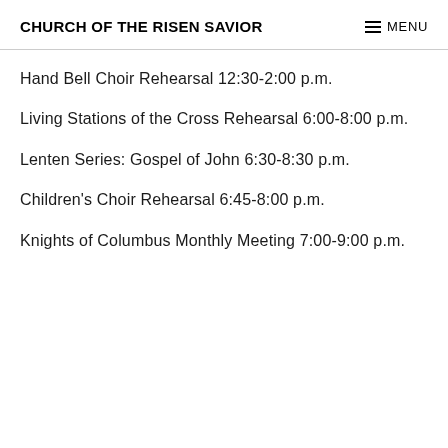CHURCH OF THE RISEN SAVIOR
Hand Bell Choir Rehearsal 12:30-2:00 p.m.
Living Stations of the Cross Rehearsal 6:00-8:00 p.m.
Lenten Series: Gospel of John 6:30-8:30 p.m.
Children's Choir Rehearsal 6:45-8:00 p.m.
Knights of Columbus Monthly Meeting 7:00-9:00 p.m.